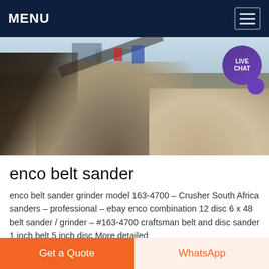MENU
[Figure (photo): Quarry or mining site with large gravel/aggregate mounds and conveyor belt equipment under a clear sky. A 'LIVE CHAT' speech bubble overlay is visible in the top-right corner of the image.]
enco belt sander
enco belt sander grinder model 163-4700 – Crusher South Africa sanders – professional – ebay enco combination 12 disc 6 x 48 belt sander / grinder – #163-4700 craftsman belt and disc sander 1 inch belt 5 inch disc More detailed
Get a Quote
WhatsApp